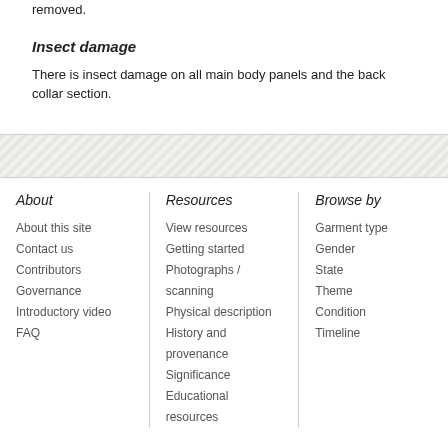removed.
Insect damage
There is insect damage on all main body panels and the back collar section.
About | About this site | Contact us | Contributors | Governance | Introductory video | FAQ | Resources | View resources | Getting started | Photographs / scanning | Physical description | History and provenance | Significance | Educational resources | Browse by | Garment type | Gender | State | Theme | Condition | Timeline